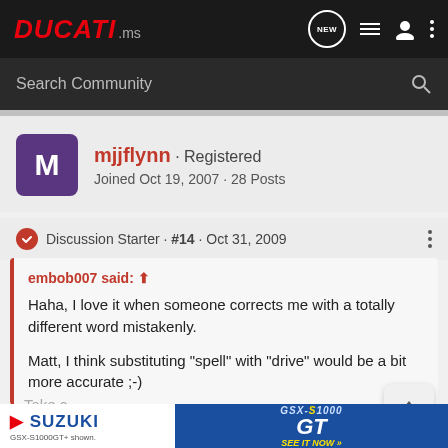DUCATI.ms
Search Community
mjjflynn · Registered
Joined Oct 19, 2007 · 28 Posts
Discussion Starter · #14 · Oct 31, 2009
embob007 said:
Haha, I love it when someone corrects me with a totally different word mistakenly.

Matt, I think substituting "spell" with "drive" would be a bit more accurate ;-)
[Figure (screenshot): Suzuki GSX-S1000GT advertisement banner at the bottom of the page]